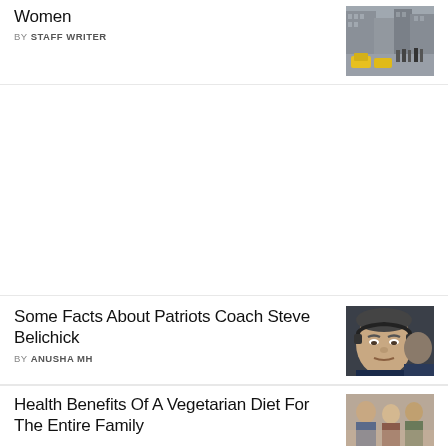Women
BY STAFF WRITER
[Figure (photo): City street scene with taxis and pedestrians]
Some Facts About Patriots Coach Steve Belichick
BY ANUSHA MH
[Figure (photo): Man with headset, appears to be a football coach]
Health Benefits Of A Vegetarian Diet For The Entire Family
[Figure (photo): People at what appears to be a food-related scene]